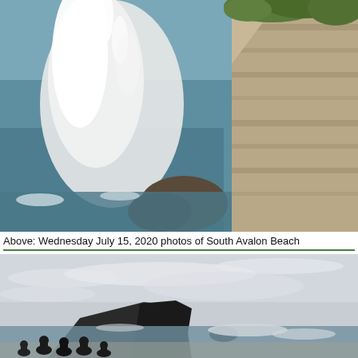[Figure (photo): Large wave crashing against rocky cliffs at South Avalon Beach. White spray shoots upward. Cliff face shows layered rock with green vegetation on top. Ocean visible to the left.]
Above: Wednesday July 15, 2020 photos of South Avalon Beach
[Figure (photo): Wide beach scene at South Avalon Beach showing silhouettes of people in the foreground watching large waves. Dark rocky headland visible in the middle distance. Overcast sky with wispy clouds.]